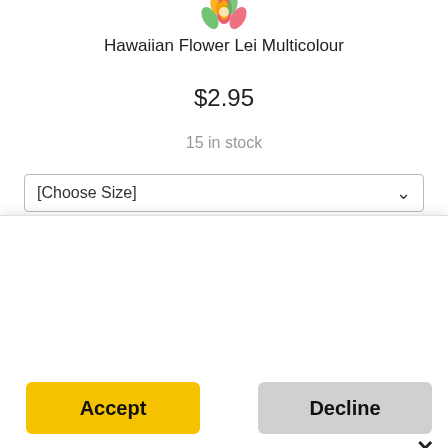[Figure (illustration): Colorful Hawaiian flower lei icon at top center of product page]
Hawaiian Flower Lei Multicolour
$2.95
15 in stock
[Choose Size]
✕
Cookies!
We use cookies so you can shop from this site. We also use cookies to enhance your experience and for analytics and marketing purposes. By clicking "Accept" below, you are agreeing to these cookies. To find out more about our cookies please click here.
Accept
Decline